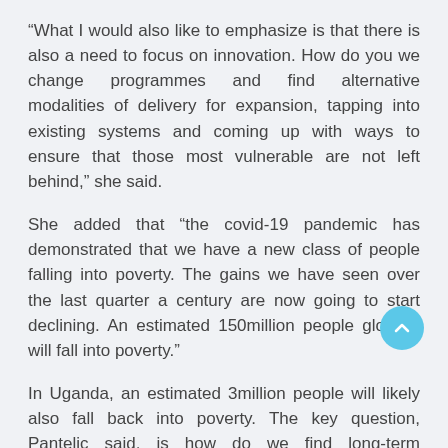“What I would also like to emphasize is that there is also a need to focus on innovation. How do you we change programmes and find alternative modalities of delivery for expansion, tapping into existing systems and coming up with ways to ensure that those most vulnerable are not left behind,” she said.
She added that “the covid-19 pandemic has demonstrated that we have a new class of people falling into poverty. The gains we have seen over the last quarter a century are now going to start declining. An estimated 150million people globally will fall into poverty.”
In Uganda, an estimated 3million people will likely also fall back into poverty. The key question, Pantelic said, is how do we find long-term sustainable responses and how do we start addressing the more vulnerable groups such as people living in urban areas, informal workers, girls